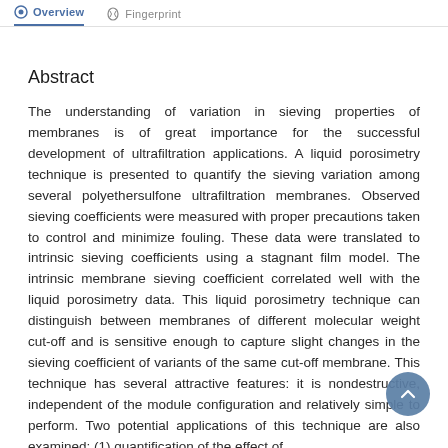Overview  Fingerprint
Abstract
The understanding of variation in sieving properties of membranes is of great importance for the successful development of ultrafiltration applications. A liquid porosimetry technique is presented to quantify the sieving variation among several polyethersulfone ultrafiltration membranes. Observed sieving coefficients were measured with proper precautions taken to control and minimize fouling. These data were translated to intrinsic sieving coefficients using a stagnant film model. The intrinsic membrane sieving coefficient correlated well with the liquid porosimetry data. This liquid porosimetry technique can distinguish between membranes of different molecular weight cut-off and is sensitive enough to capture slight changes in the sieving coefficient of variants of the same cut-off membrane. This technique has several attractive features: it is nondestructive, independent of the module configuration and relatively simple to perform. Two potential applications of this technique are also examined: (1) quantification of the effect of